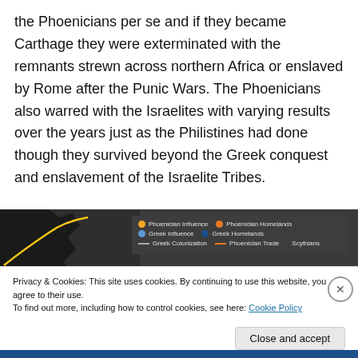the Phoenicians per se and if they became Carthage they were exterminated with the remnants strewn across northern Africa or enslaved by Rome after the Punic Wars. The Phoenicians also warred with the Israelites with varying results over the years just as the Philistines had done though they survived beyond the Greek conquest and enslavement of the Israelite Tribes.
[Figure (map): A dark-themed map showing Phoenician and Greek influence zones with a legend: Phoenician Influence (orange dot), Phoenician Homelands (dark orange dot), Greek Influence (light blue dot), Greek Homelands (dark blue dot), Greek Colonization (gray line), Phoenician Trade (orange line), Scythians label.]
Privacy & Cookies: This site uses cookies. By continuing to use this website, you agree to their use.
To find out more, including how to control cookies, see here: Cookie Policy